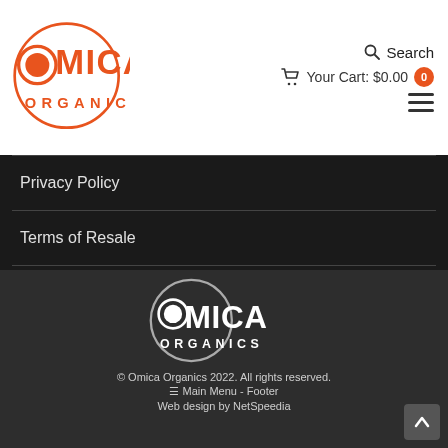[Figure (logo): Omica Organics logo - orange circle with OMICA ORGANICS text]
Search
Your Cart: $0.00  0
Privacy Policy
Terms of Resale
Wholesale Application Request
[Figure (logo): Omica Organics white logo on dark background]
© Omica Organics 2022. All rights reserved.
☰ Main Menu - Footer
Web design by NetSpeedia